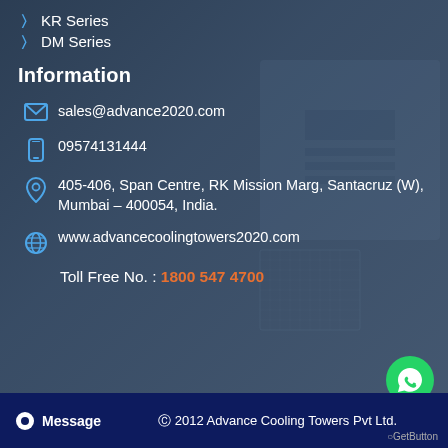KR Series
DM Series
Information
sales@advance2020.com
09574131444
405-406, Span Centre, RK Mission Marg, Santacruz (W), Mumbai – 400054, India.
www.advancecoolingtowers2020.com
Toll Free No. : 1800 547 4700
© 2012 Advance Cooling Towers Pvt Ltd.
Message